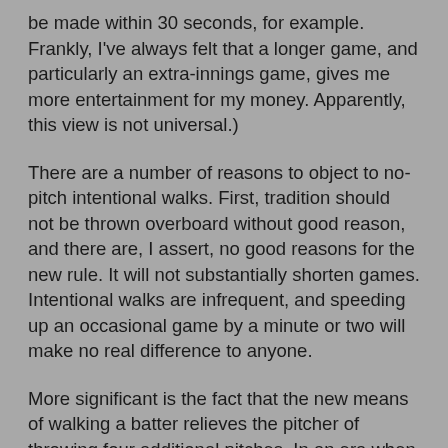be made within 30 seconds, for example. Frankly, I've always felt that a longer game, and particularly an extra-innings game, gives me more entertainment for my money. Apparently, this view is not universal.)
There are a number of reasons to object to no-pitch intentional walks. First, tradition should not be thrown overboard without good reason, and there are, I assert, no good reasons for the new rule. It will not substantially shorten games. Intentional walks are infrequent, and speeding up an occasional game by a minute or two will make no real difference to anyone.
More significant is the fact that the new means of walking a batter relieves the pitcher of throwing four additional pitches. In an era when managers seldom allow pitchers to throw more than 100 pitches in a game, the new rule can have an effect on when a starting pitcher is replaced by a reliever. Realistically, even a soft pitch thrown to complete an intentional walk takes something out of the man on the mound.